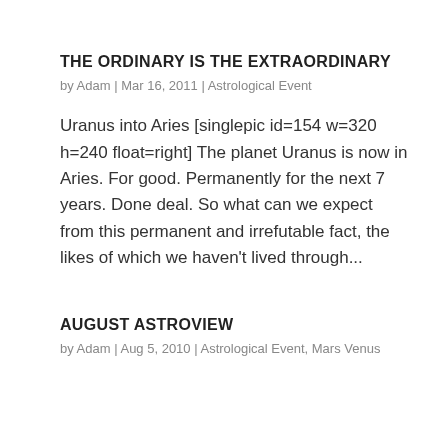THE ORDINARY IS THE EXTRAORDINARY
by Adam | Mar 16, 2011 | Astrological Event
Uranus into Aries [singlepic id=154 w=320 h=240 float=right] The planet Uranus is now in Aries. For good. Permanently for the next 7 years. Done deal. So what can we expect from this permanent and irrefutable fact, the likes of which we haven't lived through...
AUGUST ASTROVIEW
by Adam | Aug 5, 2010 | Astrological Event, Mars Venus